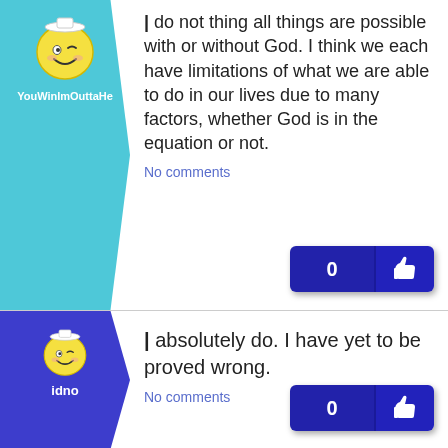[Figure (illustration): Teal arrow-shaped avatar panel with winking smiley face logo and username YouWinImOuttaHe]
I do not thing all things are possible with or without God. I think we each have limitations of what we are able to do in our lives due to many factors, whether God is in the equation or not.
No comments
[Figure (illustration): Blue arrow-shaped avatar panel with winking smiley face logo and username idno]
I absolutely do. I have yet to be proved wrong.
No comments